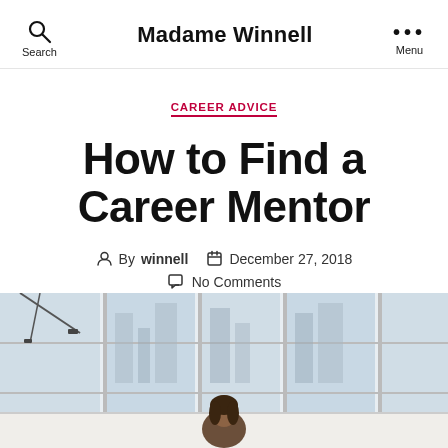Madame Winnell
CAREER ADVICE
How to Find a Career Mentor
By winnell   December 27, 2018   No Comments
[Figure (photo): Woman standing in a bright modern office with large windows in the background]